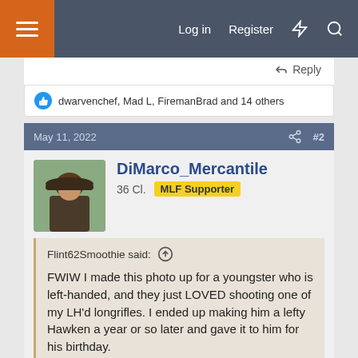Log in  Register
Reply
dwarvenchef, Mad L, FiremanBrad and 14 others
May 11, 2022  #2
DiMarco_Mercantile
36 Cl.  MLF Supporter
Flint62Smoothie said:
FWIW I made this photo up for a youngster who is left-handed, and they just LOVED shooting one of my LH'd longrifles. I ended up making him a lefty Hawken a year or so later and gave it to him for his birthday.
NOTE ... the magazine cover is 'not real' ... so don't flame/sue me for copyright infringement, LOL! I bet you
Click to expand...